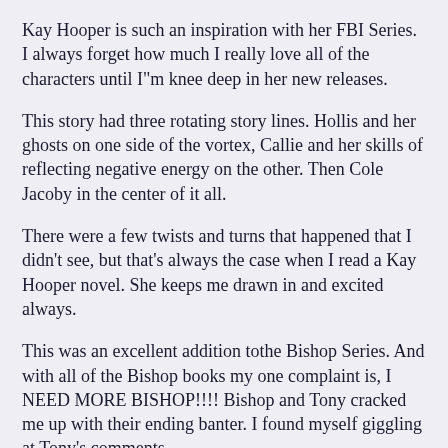Kay Hooper is such an inspiration with her FBI Series. I always forget how much I really love all of the characters until I"m knee deep in her new releases.
This story had three rotating story lines. Hollis and her ghosts on one side of the vortex, Callie and her skills of reflecting negative energy on the other. Then Cole Jacoby in the center of it all.
There were a few twists and turns that happened that I didn't see, but that's always the case when I read a Kay Hooper novel. She keeps me drawn in and excited always.
This was an excellent addition tothe Bishop Series. And with all of the Bishop books my one complaint is, I NEED MORE BISHOP!!!! Bishop and Tony cracked me up with their ending banter. I found myself giggling at Tony's comments.
What a great read and I really can't wait for the next book in